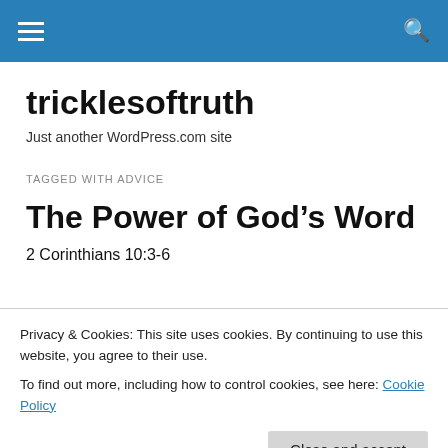tricklesoftruth navigation bar
tricklesoftruth
Just another WordPress.com site
TAGGED WITH ADVICE
The Power of God’s Word
2 Corinthians 10:3-6
Privacy & Cookies: This site uses cookies. By continuing to use this website, you agree to their use.
To find out more, including how to control cookies, see here: Cookie Policy
and every pretension that sets itself up against the